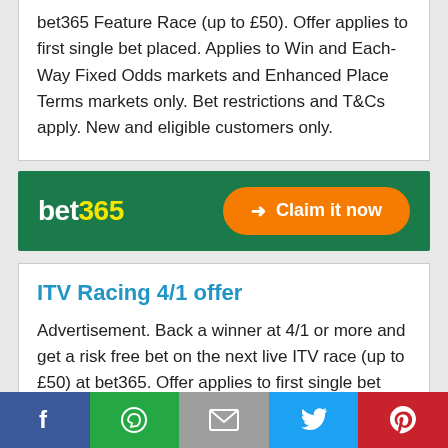bet365 Feature Race (up to £50). Offer applies to first single bet placed. Applies to Win and Each-Way Fixed Odds markets and Enhanced Place Terms markets only. Bet restrictions and T&Cs apply. New and eligible customers only.
[Figure (infographic): bet365 green banner with bet365 logo on the left and an orange 'Claim it now' button on the right]
ITV Racing 4/1 offer
Advertisement. Back a winner at 4/1 or more and get a risk free bet on the next live ITV race (up to £50) at bet365. Offer applies to first single bet placed. Applies
[Figure (infographic): Social share bar with Facebook, WhatsApp, Email, Twitter, and Pinterest buttons]